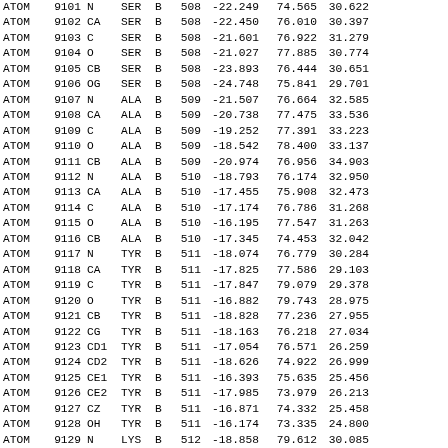| Record | Serial | Name | Res | Ch | Seq | X | Y | Z |
| --- | --- | --- | --- | --- | --- | --- | --- | --- |
| ATOM | 9101 | N | SER | B | 508 | -22.249 | 74.565 | 30.622 |
| ATOM | 9102 | CA | SER | B | 508 | -22.450 | 76.010 | 30.397 |
| ATOM | 9103 | C | SER | B | 508 | -21.601 | 76.922 | 31.279 |
| ATOM | 9104 | O | SER | B | 508 | -21.027 | 77.885 | 30.774 |
| ATOM | 9105 | CB | SER | B | 508 | -23.893 | 76.444 | 30.651 |
| ATOM | 9106 | OG | SER | B | 508 | -24.748 | 75.841 | 29.701 |
| ATOM | 9107 | N | ALA | B | 509 | -21.507 | 76.664 | 32.585 |
| ATOM | 9108 | CA | ALA | B | 509 | -20.738 | 77.475 | 33.536 |
| ATOM | 9109 | C | ALA | B | 509 | -19.252 | 77.391 | 33.223 |
| ATOM | 9110 | O | ALA | B | 509 | -18.542 | 78.400 | 33.137 |
| ATOM | 9111 | CB | ALA | B | 509 | -20.974 | 76.956 | 34.903 |
| ATOM | 9112 | N | ALA | B | 510 | -18.793 | 76.174 | 32.950 |
| ATOM | 9113 | CA | ALA | B | 510 | -17.455 | 75.908 | 32.473 |
| ATOM | 9114 | C | ALA | B | 510 | -17.174 | 76.786 | 31.268 |
| ATOM | 9115 | O | ALA | B | 510 | -16.195 | 77.547 | 31.263 |
| ATOM | 9116 | CB | ALA | B | 510 | -17.345 | 74.453 | 32.042 |
| ATOM | 9117 | N | TYR | B | 511 | -18.074 | 76.779 | 30.284 |
| ATOM | 9118 | CA | TYR | B | 511 | -17.825 | 77.586 | 29.103 |
| ATOM | 9119 | C | TYR | B | 511 | -17.847 | 79.079 | 29.378 |
| ATOM | 9120 | O | TYR | B | 511 | -16.882 | 79.743 | 28.975 |
| ATOM | 9121 | CB | TYR | B | 511 | -18.828 | 77.236 | 27.955 |
| ATOM | 9122 | CG | TYR | B | 511 | -18.163 | 76.218 | 27.034 |
| ATOM | 9123 | CD1 | TYR | B | 511 | -17.054 | 76.571 | 26.259 |
| ATOM | 9124 | CD2 | TYR | B | 511 | -18.626 | 74.922 | 26.999 |
| ATOM | 9125 | CE1 | TYR | B | 511 | -16.393 | 75.635 | 25.456 |
| ATOM | 9126 | CE2 | TYR | B | 511 | -17.985 | 73.979 | 26.213 |
| ATOM | 9127 | CZ | TYR | B | 511 | -16.871 | 74.332 | 25.458 |
| ATOM | 9128 | OH | TYR | B | 511 | -16.174 | 73.335 | 24.800 |
| ATOM | 9129 | N | LYS | B | 512 | -18.858 | 79.612 | 30.085 |
| ATOM | 9130 | CA | LYS | B | 512 | -18.925 | 81.007 | 30.484 |